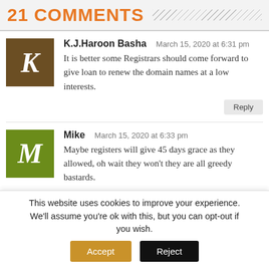21 COMMENTS
K.J.Haroon Basha   March 15, 2020 at 6:31 pm
It is better some Registrars should come forward to give loan to renew the domain names at a low interests.
Mike   March 15, 2020 at 6:33 pm
Maybe registers will give 45 days grace as they allowed, oh wait they won’t they are all greedy bastards.
Konstantinos Zournas
This website uses cookies to improve your experience. We’ll assume you’re ok with this, but you can opt-out if you wish.  Accept  Reject